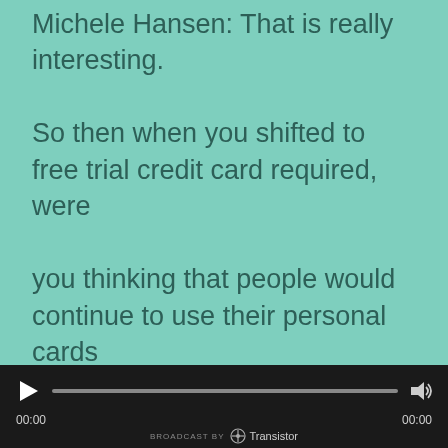Michele Hansen: That is really interesting.

So then when you shifted to free trial credit card required, were

you thinking that people would continue to use their personal cards

Ben Orenstein: They did.

That happened a lot because they still didn't have a company credit card and

they still want to try the software.
[Figure (screenshot): Audio player bar with play button, progress bar, volume button, time displays showing 00:00 on both sides, and 'BROADCAST BY Transistor' branding at bottom]